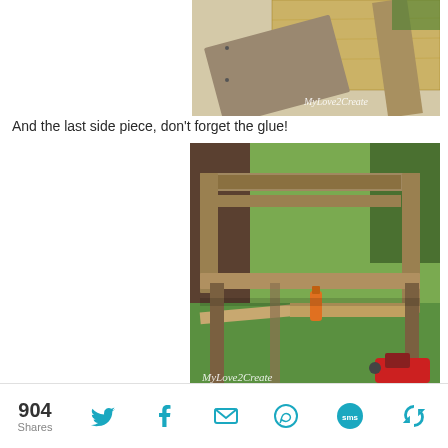[Figure (photo): Top partial photo showing wooden boards and lumber pieces outdoors with a MyLove2Create watermark]
And the last side piece, don't forget the glue!
[Figure (photo): Photo of a wooden raised garden bed frame being assembled outdoors on grass, with a glue bottle visible on the lower shelf and a power drill in the corner. MyLove2Create watermark visible.]
904 Shares [Twitter] [Facebook] [Email] [WhatsApp] [SMS] [Share]